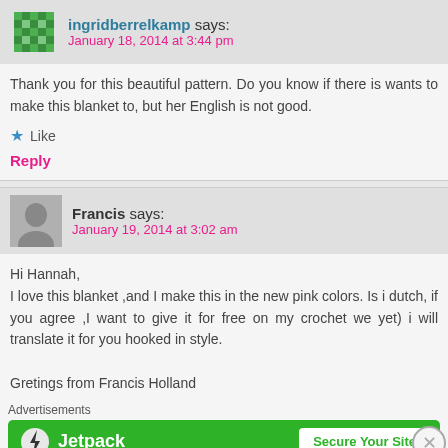ingridberrelkamp says: January 18, 2014 at 3:44 pm
Thank you for this beautiful pattern. Do you know if there is wants to make this blanket to, but her English is not good.
Like
Reply
Francis says: January 19, 2014 at 3:02 am
Hi Hannah, I love this blanket ,and I make this in the new pink colors. Is i dutch, if you agree ,I want to give it for free on my crochet we yet) i will translate it for you hooked in style.

Gretings from Francis Holland
Advertisements
[Figure (screenshot): Jetpack advertisement banner with green background showing Jetpack logo and 'Secure Your Site' button]